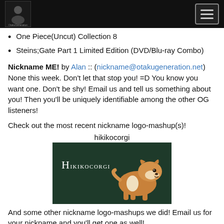OtakuGeneration [header with logo and hamburger menu]
One Piece(Uncut) Collection 8
Steins;Gate Part 1 Limited Edition (DVD/Blu-ray Combo)
Nickname ME! by Alan :: (nickname@otakugeneration.net) None this week. Don't let that stop you! =D You know you want one. Don't be shy! Email us and tell us something about you! Then you'll be uniquely identifiable among the other OG listeners!
Check out the most recent nickname logo-mashup(s)!
hikikocorgi
[Figure (photo): Dark green background image with the text 'Hikikocorgi' in white serif font and a Corgi dog sitting to the right.]
And some other nickname logo-mashups we did! Email us for your nickname and you'll get one as well!
[Figure (photo): Partially visible image at the bottom of the page.]